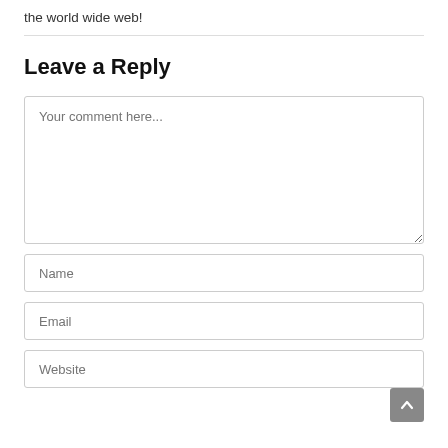the world wide web!
Leave a Reply
[Figure (other): Comment form with textarea placeholder 'Your comment here...', Name input, Email input, and Website input fields, plus a scroll-to-top button]